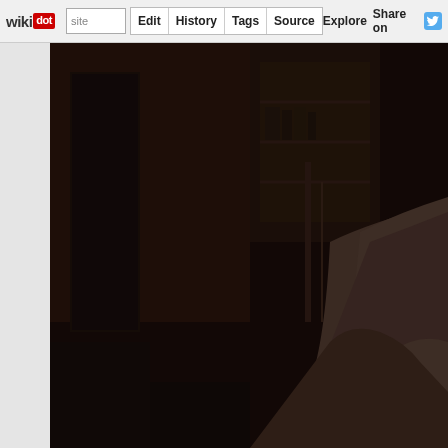wikidot | site Edit History Tags Source Explore Share on Twitter
[Figure (photo): Dark, moody photograph showing a dimly lit room interior with dark wooden furniture/shelving visible in the background, and a large dark fabric or upholstered surface (possibly a couch or chair) occupying the right foreground. The overall tone is very dark brown and black.]